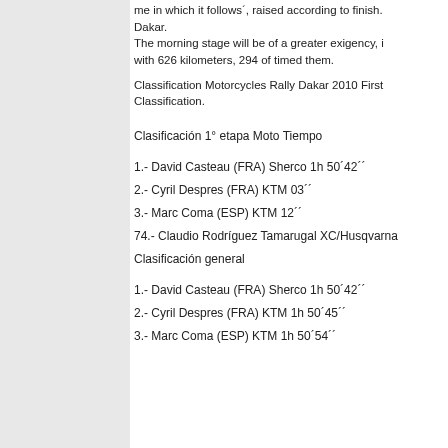me in which it follows´, raised according to finish. Dakar. The morning stage will be of a greater exigency, i with 626 kilometers, 294 of timed them.
Classification Motorcycles Rally Dakar 2010 First Classification.
Clasificación 1° etapa Moto Tiempo
1.- David Casteau (FRA) Sherco 1h 50´42´´
2.- Cyril Despres (FRA) KTM 03´´
3.- Marc Coma (ESP) KTM 12´´
74.- Claudio Rodríguez Tamarugal XC/Husqvarna
Clasificación general
1.- David Casteau (FRA) Sherco 1h 50´42´´
2.- Cyril Despres (FRA) KTM 1h 50´45´´
3.- Marc Coma (ESP) KTM 1h 50´54´´